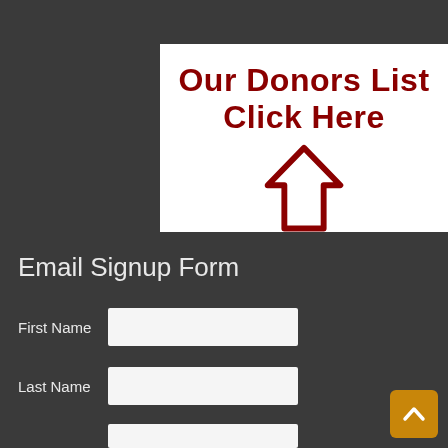[Figure (illustration): White banner with dark red bold text 'Our Donors List Click Here' and an upward-pointing arrow icon in dark red below the text]
Email Signup Form
First Name
Last Name